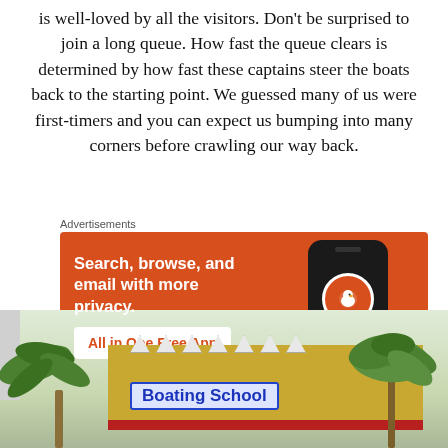is well-loved by all the visitors. Don't be surprised to join a long queue. How fast the queue clears is determined by how fast these captains steer the boats back to the starting point. We guessed many of us were first-timers and you can expect us bumping into many corners before crawling our way back.
[Figure (infographic): DuckDuckGo advertisement banner on orange background with phone mockup showing DuckDuckGo logo. Text: 'Search, browse, and email with more privacy. All in One Free App' with DuckDuckGo branding.]
[Figure (photo): Photo of a Boating School building with yellow/gold facade, red trim, decorated roof, flanked by palm trees and other tropical vegetation. A sign reads 'Boating School' in blue text.]